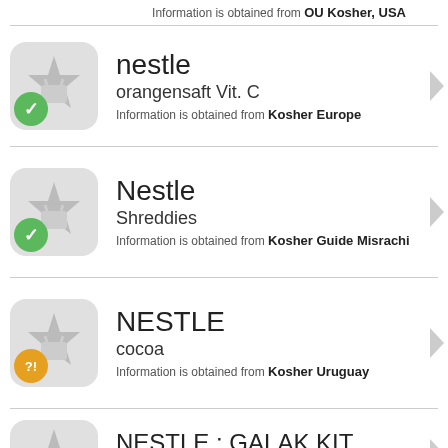Information is obtained from OU Kosher, USA
nestle | orangensaft Vit. C | Information is obtained from Kosher Europe
Nestle | Shreddies | Information is obtained from Kosher Guide Misrachi
NESTLE | cocoa | Information is obtained from Kosher Uruguay
NESTLE : GALAK KIT KAT LION NESTLE